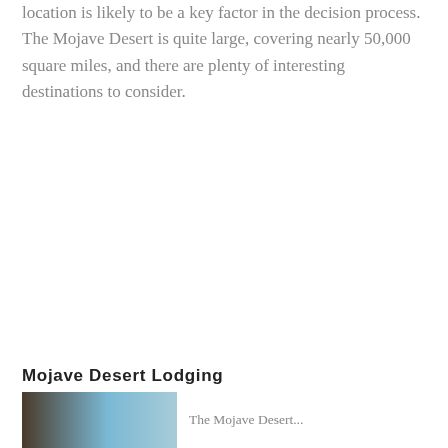location is likely to be a key factor in the decision process. The Mojave Desert is quite large, covering nearly 50,000 square miles, and there are plenty of interesting destinations to consider.
Mojave Desert Lodging
[Figure (photo): Partial view of a photo showing desert landscape with blue sky]
The Mojave Desert...